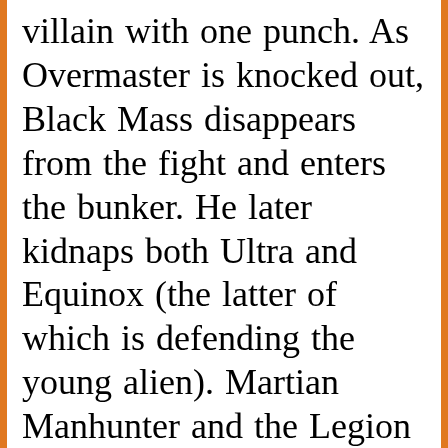villain with one punch. As Overmaster is knocked out, Black Mass disappears from the fight and enters the bunker. He later kidnaps both Ultra and Equinox (the latter of which is defending the young alien). Martian Manhunter and the Legion arrive, but they are too late because Black Mass took both of them and sends them to Ryngor. Just as Supergirl fights